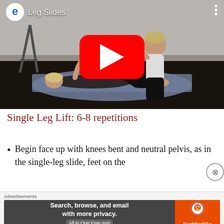[Figure (screenshot): YouTube video thumbnail showing a woman lying on a yoga mat performing leg slides exercise, with another person assisting. Video title 'Leg Slides' shown in top left with YouTube-style logo. Large red play button in the center.]
Single Leg Lift: 6-8 repetitions
Begin face up with knees bent and neutral pelvis, as in the single-leg slide, feet on the
Advertisements
[Figure (screenshot): DuckDuckGo advertisement banner: left side dark background with text 'Search, browse, and email with more privacy. All in One Free App', right side orange background with DuckDuckGo logo and duck icon.]